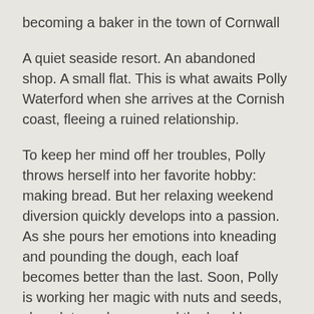becoming a baker in the town of Cornwall
A quiet seaside resort. An abandoned shop. A small flat. This is what awaits Polly Waterford when she arrives at the Cornish coast, fleeing a ruined relationship.
To keep her mind off her troubles, Polly throws herself into her favorite hobby: making bread. But her relaxing weekend diversion quickly develops into a passion. As she pours her emotions into kneading and pounding the dough, each loaf becomes better than the last. Soon, Polly is working her magic with nuts and seeds, chocolate and sugar, and the local honey—courtesy of a handsome beekeeper. Packed with laughter and emotion, Little Beach Street Bakery is the story of how one woman discovered bright new life where she least expected—a heartwarming,